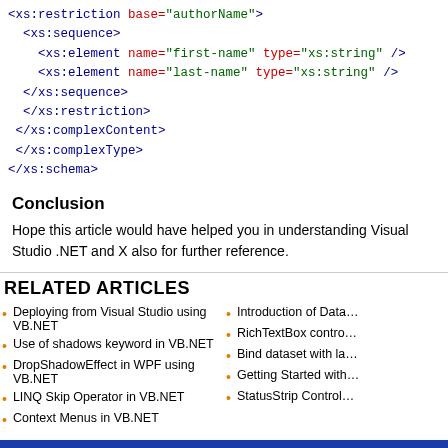<xs:restriction base="authorName">
  <xs:sequence>
    <xs:element name="first-name" type="xs:string" />
    <xs:element name="last-name" type="xs:string" />
  </xs:sequence>
</xs:restriction>
</xs:complexContent>
</xs:complexType>
</xs:schema>
Conclusion
Hope this article would have helped you in understanding Visual Studio .NET and X also for further reference.
RELATED ARTICLES
Deploying from Visual Studio using VB.NET
Use of shadows keyword in VB.NET
DropShadowEffect in WPF using VB.NET
LINQ Skip Operator in VB.NET
Context Menus in VB.NET
Introduction of Data…
RichTextBox contro…
Bind dataset with la…
Getting Started with…
StatusStrip Control…
TERMS & CONDITIONS | CONTACT US | REPORT ABUSE